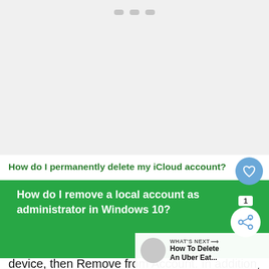[Figure (other): Top gray area with small dot indicators, representing a UI screenshot or ad placeholder]
How do I permanently delete my iCloud account?
How do I remove a local account as administrator in Windows 10?
Sign in to iCloud and scroll down to Dev device, then Remove from Account. In addition, you
[Figure (infographic): WHAT'S NEXT panel showing How To Delete An Uber Eat... with thumbnail and arrow]